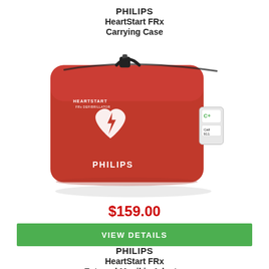PHILIPS
HeartStart FRx
Carrying Case
[Figure (photo): Red Philips HeartStart FRx Carrying Case with white heart and lightning bolt logo, PHILIPS text on front, and a small device attached on the right side]
$159.00
VIEW DETAILS
PHILIPS
HeartStart FRx
External Manikin Adapter